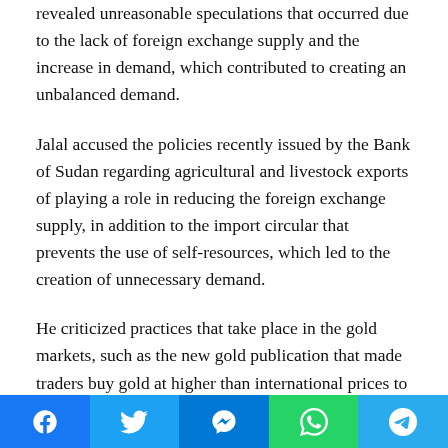revealed unreasonable speculations that occurred due to the lack of foreign exchange supply and the increase in demand, which contributed to creating an unbalanced demand.
Jalal accused the policies recently issued by the Bank of Sudan regarding agricultural and livestock exports of playing a role in reducing the foreign exchange supply, in addition to the import circular that prevents the use of self-resources, which led to the creation of unnecessary demand.
He criticized practices that take place in the gold markets, such as the new gold publication that made traders buy gold at higher than international prices to use it to bring in more profitable commodities.
Jalal pointed out that these practices negatively affect competition and harm the foreign trade process, and lead to a rise in the general